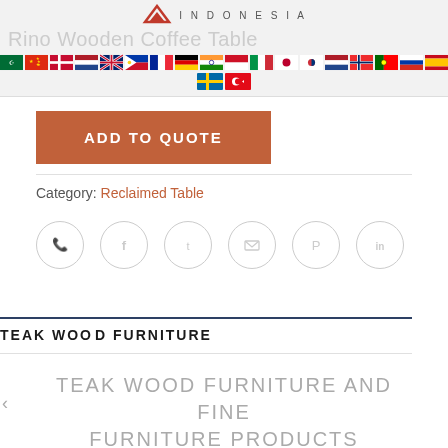[Figure (screenshot): Website header with logo (red chevron/W mark and INDONESIA text), product title 'Rino Wooden Coffee Table', and two rows of international country flags for language selection]
[Figure (other): Orange 'ADD TO QUOTE' button]
Category: Reclaimed Table
[Figure (other): Row of social media sharing icons: WhatsApp, Facebook, Twitter, Email, Pinterest, LinkedIn — circular outline style]
TEAK WOOD FURNITURE
TEAK WOOD FURNITURE AND FINE FURNITURE PRODUCTS